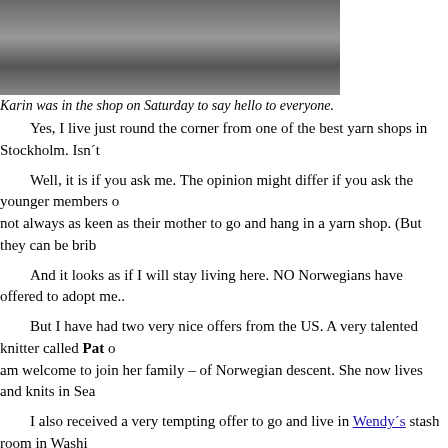[Figure (photo): Partial photo of two people, cropped at top of page]
Karin was in the shop on Saturday to say hello to everyone.
Yes, I live just round the corner from one of the best yarn shops in Stockholm. Isn't
Well, it is if you ask me. The opinion might differ if you ask the younger members of the family, who are not always as keen as their mother to go and hang in a yarn shop. (But they can be bribed.)
And it looks as if I will stay living here. NO Norwegians have offered to adopt me...
But I have had two very nice offers from the US. A very talented knitter called Pat offered to adopt me and I am welcome to join her family – of Norwegian descent. She now lives and knits in Seattle.
I also received a very tempting offer to go and live in Wendy's stash room in Washington. That would practically make me Lucy's sister, wouldn't it?
This will be a difficult decision, I think.
I have to admit that I am a little disappointed with the Norwegians, though. My Elis didn't win anything in the Selbu mitten contest either. But there are some great mittens to admire even if they didn't win. Go and check them out here.